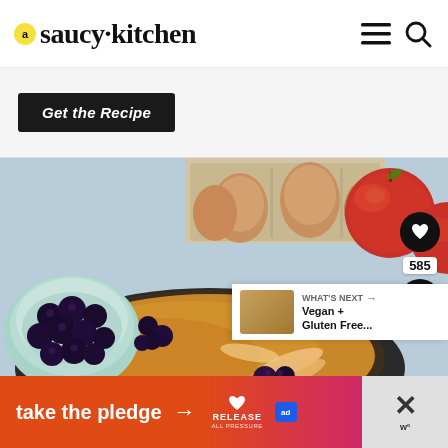saucy kitchen
Get the Recipe
[Figure (photo): Overhead food photo showing a cast-iron skillet with a baked apple and blackberry custard/clafoutis, surrounded by ingredients: a carton of brown eggs, red apples, and a bowl of fresh blackberries, on a light blue surface.]
585
WHAT'S NEXT → Vegan + Gluten Free...
take the pledge →
ad